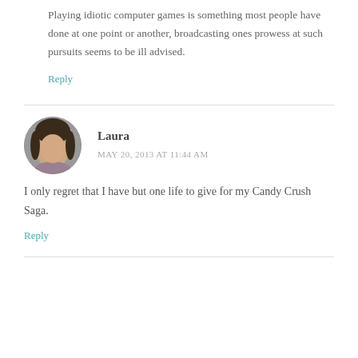Playing idiotic computer games is something most people have done at one point or another, broadcasting ones prowess at such pursuits seems to be ill advised.
Reply
Laura
MAY 20, 2013 AT 11:44 AM
I only regret that I have but one life to give for my Candy Crush Saga.
Reply